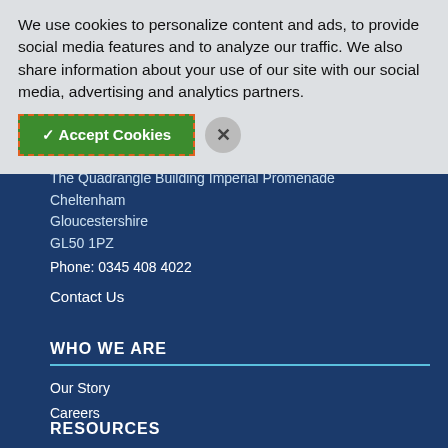PIPELINE
We use cookies to personalize content and ads, to provide social media features and to analyze our traffic. We also share information about your use of our site with our social media, advertising and analytics partners.
✓ Accept Cookies
The Quadrangle Building Imperial Promenade
Cheltenham
Gloucestershire
GL50 1PZ
Phone: 0345 408 4022
Contact Us
WHO WE ARE
Our Story
Careers
RESOURCES